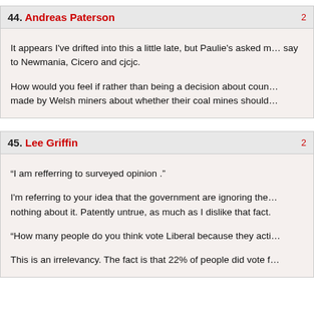44. Andreas Paterson
It appears I've drifted into this a little late, but Paulie's asked m… say to Newmania, Cicero and cjcjc.
How would you feel if rather than being a decision about coun… made by Welsh miners about whether their coal mines should…
45. Lee Griffin
“I am refferring to surveyed opinion .”
I'm referring to your idea that the government are ignoring the… nothing about it. Patently untrue, as much as I dislike that fact.
“How many people do you think vote Liberal because they acti…
This is an irrelevancy. The fact is that 22% of people did vote f…